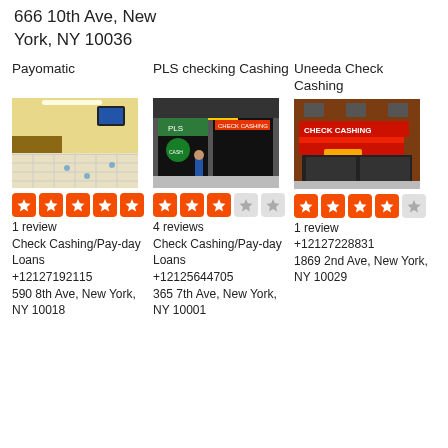666 10th Ave, New York, NY 10036
Payomatic
[Figure (photo): Interior of Payomatic check cashing store]
5 stars, 1 review, Check Cashing/Pay-day Loans, +12127192115, 590 8th Ave, New York, NY 10018
PLS checking Cashing
[Figure (photo): Exterior of PLS checking Cashing storefront on city street]
3 stars, 4 reviews, Check Cashing/Pay-day Loans, +12125644705, 365 7th Ave, New York, NY 10001
Uneeda Check Cashing
[Figure (photo): Exterior of Uneeda Check Cashing storefront with red awning]
4 stars, 1 review, +12127228831, 1869 2nd Ave, New York, NY 10029